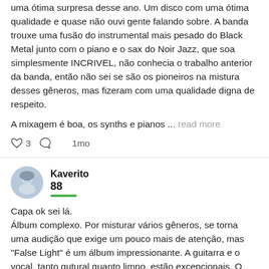uma ótima surpresa desse ano. Um disco com uma ótima qualidade e quase não ouvi gente falando sobre. A banda trouxe uma fusão do instrumental mais pesado do Black Metal junto com o piano e o sax do Noir Jazz, que soa simplesmente INCRIVEL, não conhecia o trabalho anterior da banda, então não sei se são os pioneiros na mistura desses gêneros, mas fizeram com uma qualidade digna de respeito.
A mixagem é boa, os synths e pianos ... read more
♡ 3   ○   1mo
Kaverito
88
Capa ok sei lá.
Álbum complexo. Por misturar vários gêneros, se torna uma audição que exige um pouco mais de atenção, mas "False Light" é um álbum impressionante. A guitarra e o vocal, tanto gutural quanto limpo, estão excepcionais. O baixo se torna audível somente em alguns momentos e a bateria é um do